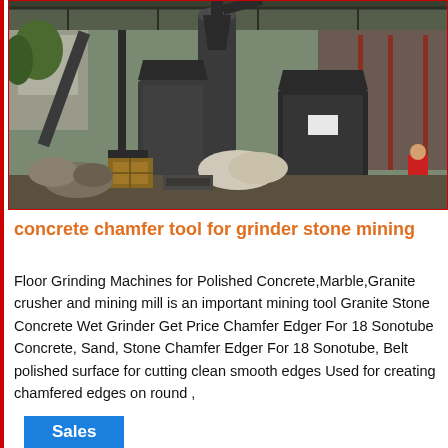[Figure (photo): Industrial mining/grinding machinery equipment photographed outdoors under a metal roof shelter. Large dark metal machines including what appears to be a mill or grinder with cyclone dust collector, crusher equipment, and various industrial components. Some wooden crates and bags visible on the ground.]
concrete chamfer tool for grinder stone mining
Floor Grinding Machines for Polished Concrete,Marble,Granite crusher and mining mill is an important mining tool Granite Stone Concrete Wet Grinder Get Price Chamfer Edger For 18 Sonotube Concrete, Sand, Stone Chamfer Edger For 18 Sonotube, Belt polished surface for cutting clean smooth edges Used for creating chamfered edges on round ,
Sales